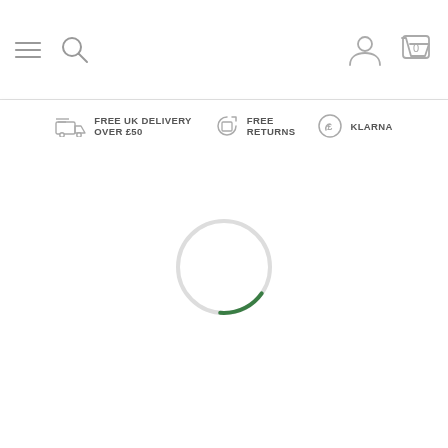Navigation header with menu, search, account and cart icons
FREE UK DELIVERY OVER £50 | FREE RETURNS | KLARNA
[Figure (other): Loading spinner circle, mostly light grey with a green arc segment in the upper right portion, indicating page loading in progress]